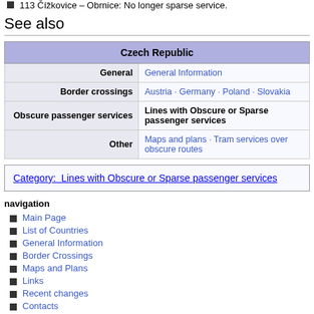113 Čížkovice – Obrnice: No longer sparse service.
See also
| Czech Republic |
| --- |
| General | General Information |
| Border crossings | Austria · Germany · Poland · Slovakia |
| Obscure passenger services | Lines with Obscure or Sparse passenger services |
| Other | Maps and plans · Tram services over obscure routes |
Category: Lines with Obscure or Sparse passenger services
navigation
Main Page
List of Countries
General Information
Border Crossings
Maps and Plans
Links
Recent changes
Contacts